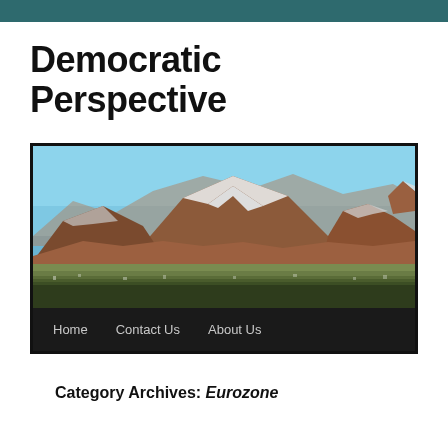Democratic Perspective
[Figure (photo): Landscape photo of red rock mountains (likely Sedona, Arizona) with snow dusting, clear blue sky, and a navigation bar at the bottom showing Home, Contact Us, About Us links on a dark background.]
Category Archives: Eurozone